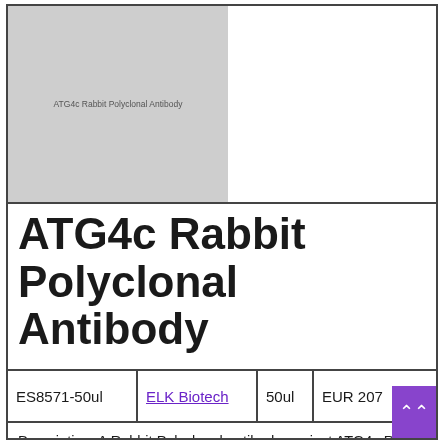[Figure (photo): Product image placeholder for ATG4c Rabbit Polyclonal Antibody, gray rectangle with text label]
ATG4c Rabbit Polyclonal Antibody
| Product Code | Supplier | Size | Price |
| --- | --- | --- | --- |
| ES8571-50ul | ELK Biotech | 50ul | EUR 207 |
Description: A Rabbit Polyclonal antibody against ATG4c Rabbit from Human/Mouse/Rat. This antibody is tested and validated for IHC